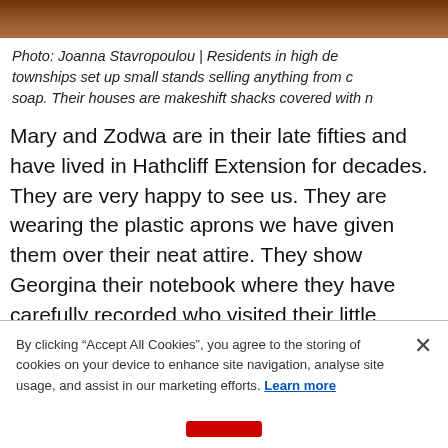[Figure (photo): Top portion of a photo showing reddish-brown earthen/soil background, partially cropped at top of page]
Photo: Joanna Stavropoulou | Residents in high density townships set up small stands selling anything from c... soap. Their houses are makeshift shacks covered with m...
Mary and Zodwa are in their late fifties and have lived in Hathcliff Extension for decades. They are very happy to see us. They are wearing the plastic aprons we have given them over their neat attire. They show Georgina their notebook where they have carefully recorded who visited their little center, what symptoms they had, how much Oral Rehydration Salts they administered. No visitor to the place could help b...
By clicking "Accept All Cookies", you agree to the storing of cookies on your device to enhance site navigation, analyse site usage, and assist in our marketing efforts. Learn more